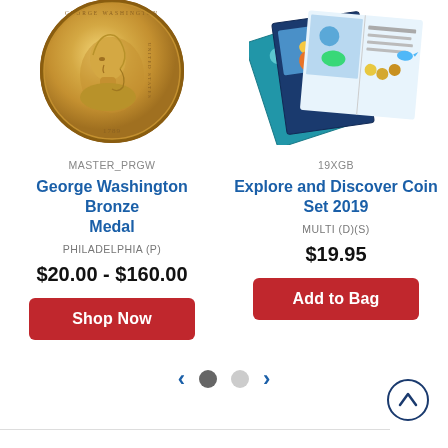[Figure (photo): Gold George Washington bronze medal coin showing profile portrait dated 1789]
[Figure (photo): Explore and Discover Coin Set 2019 product showing colorful illustrated books/booklets fanned out]
MASTER_PRGW
19XGB
George Washington Bronze Medal
Explore and Discover Coin Set 2019
PHILADELPHIA (P)
MULTI (D)(S)
$20.00 - $160.00
$19.95
Shop Now
Add to Bag